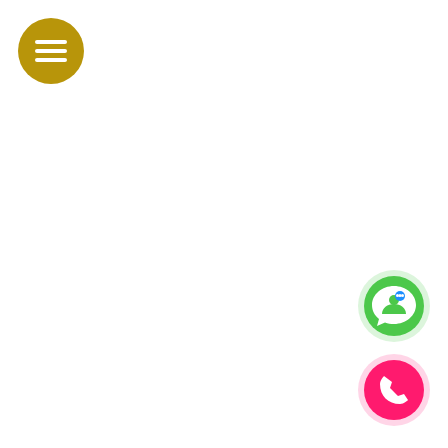[Figure (illustration): Golden/olive-colored circular menu button with three horizontal white lines (hamburger icon) in the top-left corner]
[Figure (illustration): Green circular WhatsApp-style button with a white speech bubble containing a person/user icon and blue chat dots, positioned in the bottom-right area]
[Figure (illustration): Hot pink/magenta circular phone button with a white telephone handset icon, positioned in the bottom-right corner]